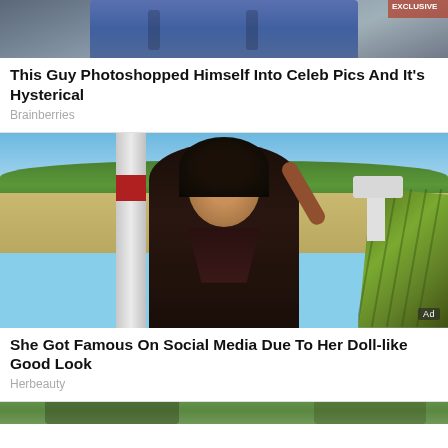[Figure (photo): Top portion of a photo showing a person in jeans sitting]
This Guy Photoshopped Himself Into Celeb Pics And It's Hysterical
Brainberries
[Figure (photo): Young Black woman in a dark bikini top at an outdoor location, smiling, with green chair in background. Ad badge visible.]
She Got Famous On Social Media Due To Her Doll-like Good Look
Herbeauty
[Figure (photo): Bottom portion of a third article image, outdoor foliage scene]